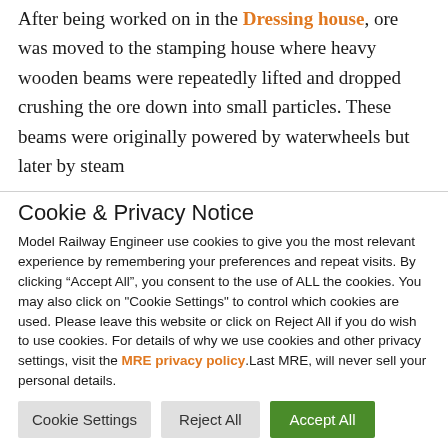After being worked on in the Dressing house, ore was moved to the stamping house where heavy wooden beams were repeatedly lifted and dropped crushing the ore down into small particles. These beams were originally powered by waterwheels but later by steam
Cookie & Privacy Notice
Model Railway Engineer use cookies to give you the most relevant experience by remembering your preferences and repeat visits. By clicking "Accept All", you consent to the use of ALL the cookies. You may also click on "Cookie Settings" to control which cookies are used. Please leave this website or click on Reject All if you do wish to use cookies. For details of why we use cookies and other privacy settings, visit the MRE privacy policy.Last MRE, will never sell your personal details.
Cookie Settings
Reject All
Accept All